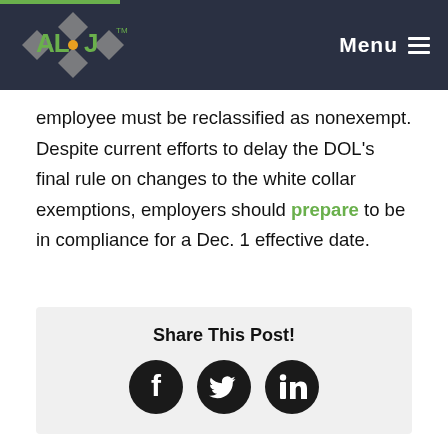ALJ — Menu
employee must be reclassified as nonexempt. Despite current efforts to delay the DOL's final rule on changes to the white collar exemptions, employers should prepare to be in compliance for a Dec. 1 effective date.
Share This Post!
[Figure (other): Social media share icons: Facebook, Twitter, LinkedIn]